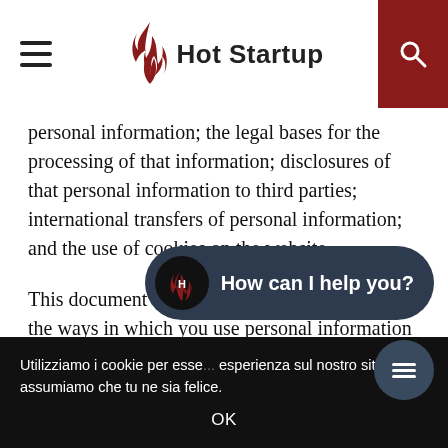[Figure (logo): Hot Startup logo with flame icon and hamburger menu on left, search icon on dark red background on right]
personal information; the legal bases for the processing of that information; disclosures of that personal information to third parties; international transfers of personal information; and the use of cookies on the website.
This document might not be suitable for you if the ways in which you use personal information are complex or unusual.
In any event, there are many aspects to data protection compliance. Publishing a pri...
[Figure (screenshot): Chat widget popup showing Hot Startup flame logo and text 'How can I help you?' on dark navy background]
Utilizziamo i cookie per esse... esperienza sul nostro sito. Se ... assumiamo che tu ne sia felice.
OK